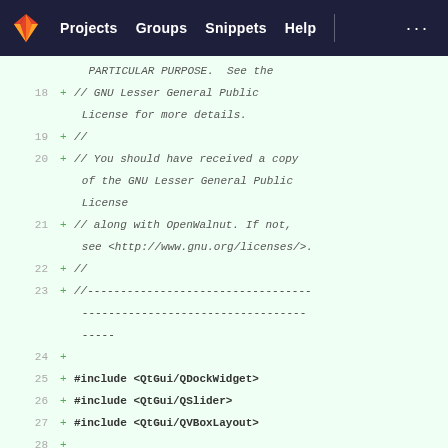GitLab navigation bar with logo, Projects, Groups, Snippets, Help links
Code diff view showing lines 17-30 of a C++ source file with GNU LGPL license header and Qt includes